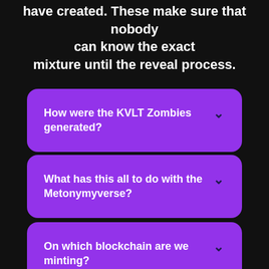have created. These make sure that nobody can know the exact mixture until the reveal process.
How were the KVLT Zombies generated?
What has this all to do with the Metonymyverse?
On which blockchain are we minting?